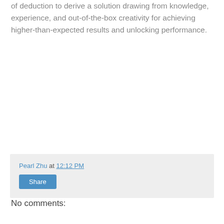of deduction to derive a solution drawing from knowledge, experience, and out-of-the-box creativity for achieving higher-than-expected results and unlocking performance.
Pearl Zhu at 12:12 PM
Share
No comments: